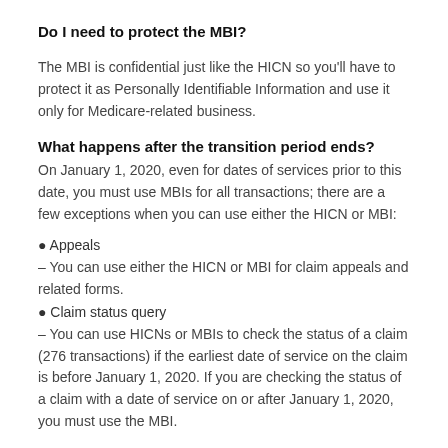Do I need to protect the MBI?
The MBI is confidential just like the HICN so you'll have to protect it as Personally Identifiable Information and use it only for Medicare-related business.
What happens after the transition period ends?
On January 1, 2020, even for dates of services prior to this date, you must use MBIs for all transactions; there are a few exceptions when you can use either the HICN or MBI:
• Appeals
– You can use either the HICN or MBI for claim appeals and related forms.
• Claim status query
– You can use HICNs or MBIs to check the status of a claim (276 transactions) if the earliest date of service on the claim is before January 1, 2020. If you are checking the status of a claim with a date of service on or after January 1, 2020, you must use the MBI.